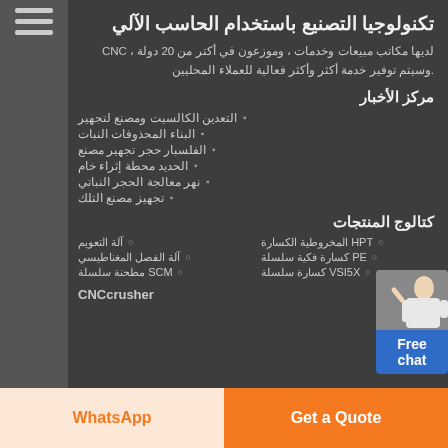تكنولوجيا التصنيع باستخدام الحاسب الآلي
لديها مكاتب مبيعات وخدمات ، وموزعون في أكتر من 20 دولة ، CNC .وسيتم توفير خدمة أكثر وأكثر فعالية للعملاء المحليين
مركز الأخبار
التعدين الكالسيت ومصنع لتجهير
البناء المحذوفات النبات
الفلسبار حجر تجهير مصنع
الحديد محطة إثراء خام
نهر معالجة الحجر النباتي
تجهيز مصنع التلك
كتالوج المنتجات
HPT المخروطية الكسارة
آلة التعويم
PE كسارة فكية سلسلة
آلة الفصل المغناطيسي
VSI5X كسارة سلسلة
SCM مطحنة سلسلة
CNCcrusher
[Figure (illustration): Customer service representative figure with Free chat button overlay]
Get a Quote
WhatsApp